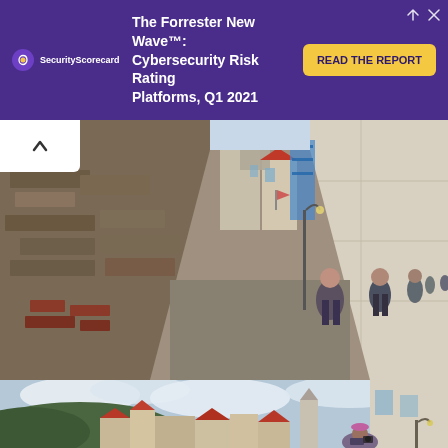[Figure (screenshot): Advertisement banner for SecurityScorecard: 'The Forrester New Wave™: Cybersecurity Risk Rating Platforms, Q1 2021' with 'READ THE REPORT' button on purple background]
[Figure (photo): Street-level photo of a narrow cobblestone alley in what appears to be Prague, with a tall rough stone wall on the left, historic buildings visible ahead, and several pedestrians walking along the path.]
[Figure (photo): Panoramic photo of Prague rooftops with red-tiled roofs, a forested hill in the background, cloudy sky, and a person in the foreground holding a camera.]